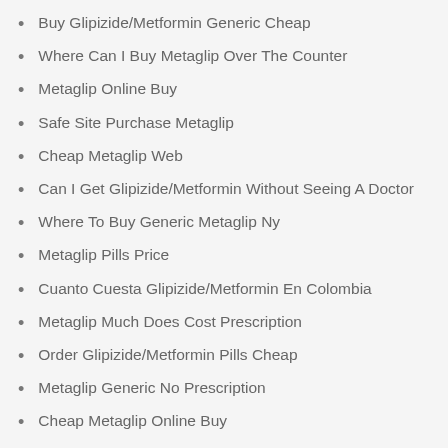Buy Glipizide/Metformin Generic Cheap
Where Can I Buy Metaglip Over The Counter
Metaglip Online Buy
Safe Site Purchase Metaglip
Cheap Metaglip Web
Can I Get Glipizide/Metformin Without Seeing A Doctor
Where To Buy Generic Metaglip Ny
Metaglip Pills Price
Cuanto Cuesta Glipizide/Metformin En Colombia
Metaglip Much Does Cost Prescription
Order Glipizide/Metformin Pills Cheap
Metaglip Generic No Prescription
Cheap Metaglip Online Buy
Combien Online Metaglip Canada
Glipizide/Metformin Discount Sales
Combien Cheap Metaglip Atlanta